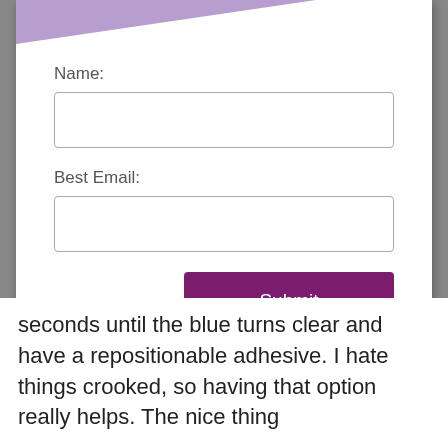Name:
Best Email:
Submit
email privacy
seconds until the blue turns clear and have a repositionable adhesive. I hate things crooked, so having that option really helps. The nice thing